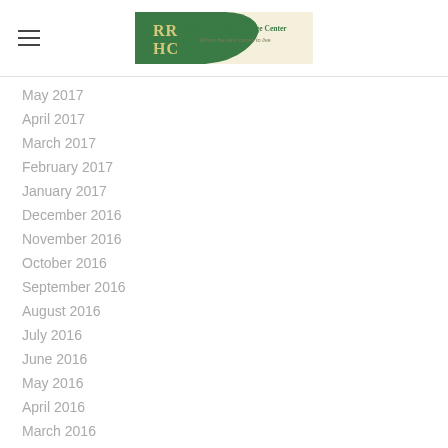[Figure (logo): Rodgers Ranch Heritage Center logo — green swoosh shape with 'RRHC' letters and text on cream background]
May 2017
April 2017
March 2017
February 2017
January 2017
December 2016
November 2016
October 2016
September 2016
August 2016
July 2016
June 2016
May 2016
April 2016
March 2016
February 2016
January 2016
December 2015